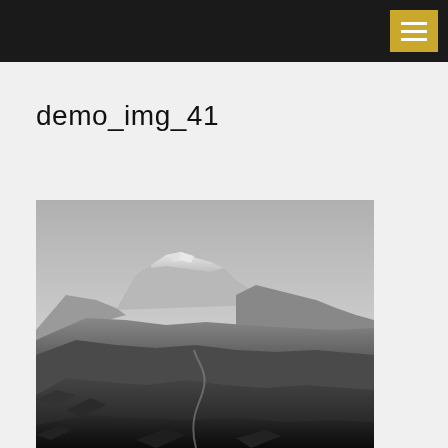demo_img_41
[Figure (photo): Black and white landscape photograph of mountain ranges with snow-capped peaks in the background and dark, rugged foothills in the foreground. A winding road or path is visible in the lower portion of the image.]